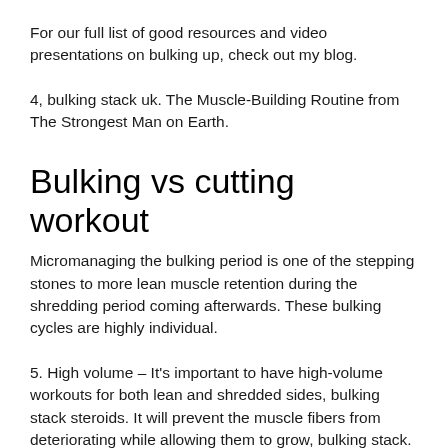For our full list of good resources and video presentations on bulking up, check out my blog.
4, bulking stack uk. The Muscle-Building Routine from The Strongest Man on Earth.
Bulking vs cutting workout
Micromanaging the bulking period is one of the stepping stones to more lean muscle retention during the shredding period coming afterwards. These bulking cycles are highly individual.
5. High volume – It's important to have high-volume workouts for both lean and shredded sides, bulking stack steroids. It will prevent the muscle fibers from deteriorating while allowing them to grow, bulking stack.